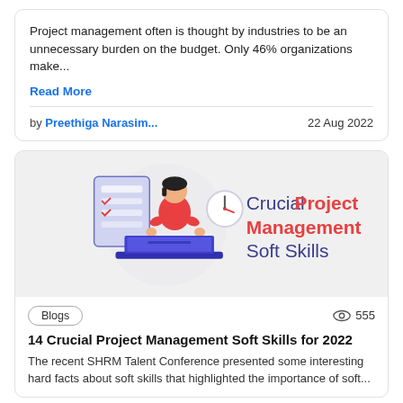Project management often is thought by industries to be an unnecessary burden on the budget. Only 46% organizations make...
Read More
by Preethiga Narasim...   22 Aug 2022
[Figure (illustration): Illustration of a person sitting at a laptop with a checklist and clock, with text: Crucial Project Management Soft Skills]
Blogs   555
14 Crucial Project Management Soft Skills for 2022
The recent SHRM Talent Conference presented some interesting hard facts about soft skills that highlighted the importance of soft...